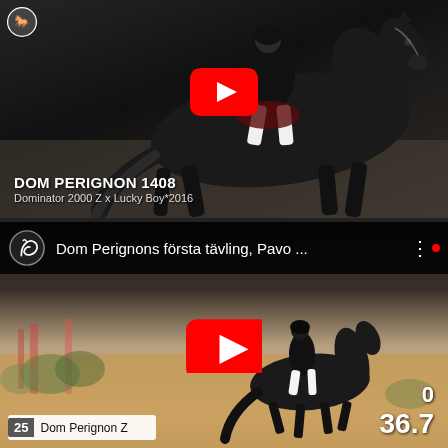[Figure (screenshot): YouTube video thumbnail showing a dressage rider on a dark horse in an indoor arena. Red YouTube play button in center. Logo and text overlay at bottom left reading 'DOM PERIGNON 1408 / Dominator 2000 Z x Lucky Boy*2016']
[Figure (screenshot): YouTube video embed with dark header bar showing logo, title 'Dom Perignons första tävling, Pavo ...' and three-dot menu. Below is a video thumbnail showing a horse and rider in an outdoor arena, with red play button. Bottom left shows chip '25 Dom Perignon Z', bottom right shows '0' and '36.7']